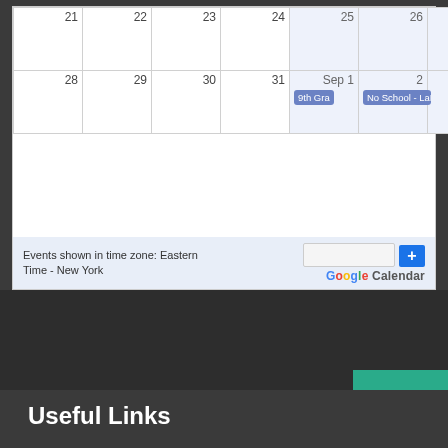[Figure (screenshot): Google Calendar showing late August and early September dates. Row with dates 21-27 (empty), row with dates 28-31 and Sep 1-3. On Sep 1: '9th Gra...' event pill. On Sep 2-3: 'No School - LaLo...' event pill. Footer shows 'Events shown in time zone: Eastern Time - New York' and Google Calendar badge with + button.]
Useful Links